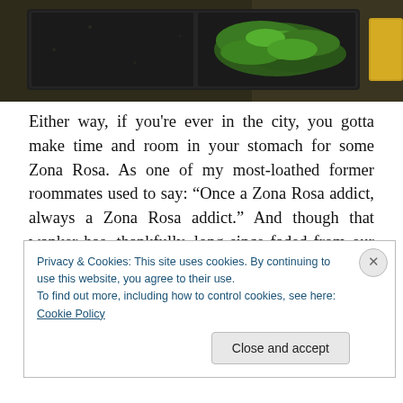[Figure (photo): Top portion of a food photo showing green herbs in a dark tray on a stone/granite surface, cropped at bottom of image strip]
Either way, if you're ever in the city, you gotta make time and room in your stomach for some Zona Rosa. As one of my most-loathed former roommates used to say: “Once a Zona Rosa addict, always a Zona Rosa addict.” And though that wanker has, thankfully, long since faded from our circle of friends, he could not have been more right about Zona…I will love this place till I die!
Privacy & Cookies: This site uses cookies. By continuing to use this website, you agree to their use.
To find out more, including how to control cookies, see here: Cookie Policy